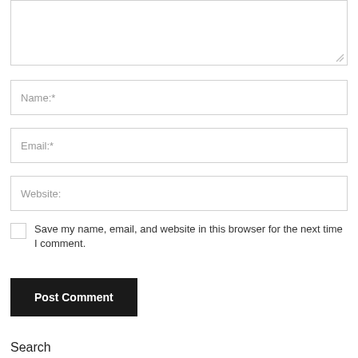[Figure (screenshot): Textarea input box (comment field), partially visible at top]
Name:*
Email:*
Website:
Save my name, email, and website in this browser for the next time I comment.
Post Comment
Search